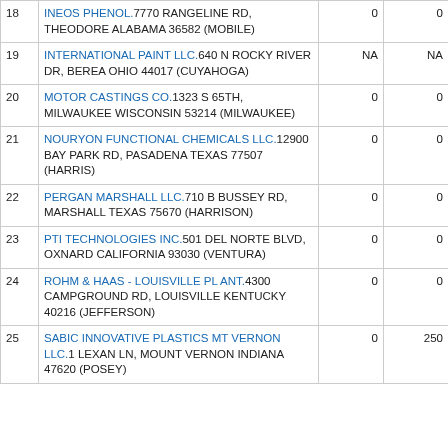| # | Facility | Col1 | Col2 |
| --- | --- | --- | --- |
| 18 | INEOS PHENOL.7770 RANGELINE RD, THEODORE ALABAMA 36582 (MOBILE) | 0 | 0 |
| 19 | INTERNATIONAL PAINT LLC.640 N ROCKY RIVER DR, BEREA OHIO 44017 (CUYAHOGA) | NA | NA |
| 20 | MOTOR CASTINGS CO.1323 S 65TH, MILWAUKEE WISCONSIN 53214 (MILWAUKEE) | 0 | 0 |
| 21 | NOURYON FUNCTIONAL CHEMICALS LLC.12900 BAY PARK RD, PASADENA TEXAS 77507 (HARRIS) | 0 | 0 |
| 22 | PERGAN MARSHALL LLC.710 B BUSSEY RD, MARSHALL TEXAS 75670 (HARRISON) | 0 | 0 |
| 23 | PTI TECHNOLOGIES INC.501 DEL NORTE BLVD, OXNARD CALIFORNIA 93030 (VENTURA) | 0 | 0 |
| 24 | ROHM & HAAS - LOUISVILLE PLANT.4300 CAMPGROUND RD, LOUISVILLE KENTUCKY 40216 (JEFFERSON) | 0 | 0 |
| 25 | SABIC INNOVATIVE PLASTICS MT VERNON LLC.1 LEXAN LN, MOUNT VERNON INDIANA 47620 (POSEY) | 0 | 250 |